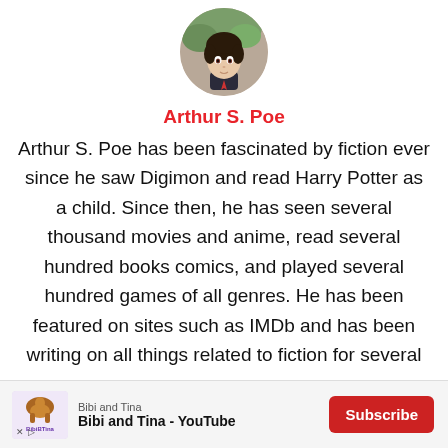[Figure (illustration): Circular profile avatar showing an anime-style character with dark hair and formal attire]
Arthur S. Poe
Arthur S. Poe has been fascinated by fiction ever since he saw Digimon and read Harry Potter as a child. Since then, he has seen several thousand movies and anime, read several hundred books comics, and played several hundred games of all genres. He has been featured on sites such as IMDb and has been writing on all things related to fiction for several years now.
[Figure (screenshot): Advertisement bar for Bibi and Tina YouTube channel with Subscribe button]